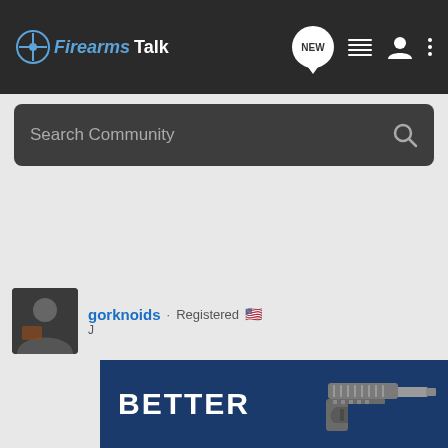FirearmsTalk - NEW (notification bubble), list icon, user icon, menu icon
Search Community
gorknoids · Registered 🇺🇸
[Figure (screenshot): Advertisement banner with text BETTER and an image of a handgun/firearm on a dark blue background]